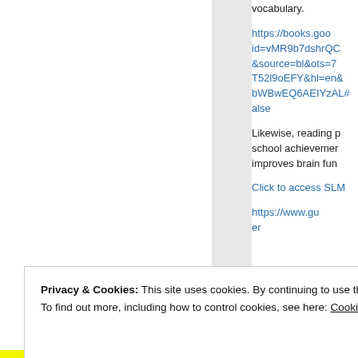vocabulary.
https://books.goo id=vMR9b7dshrQC &source=bl&ots=7 T52l9oEFY&hl=en& bWBwEQ6AEIYzAL# alse
Likewise, reading p school achievemer improves brain fun
Click to access SLM
https://www.thu er
Privacy & Cookies: This site uses cookies. By continuing to use this website, you agree to their use.
To find out more, including how to control cookies, see here: Cookie Policy
Close and accept